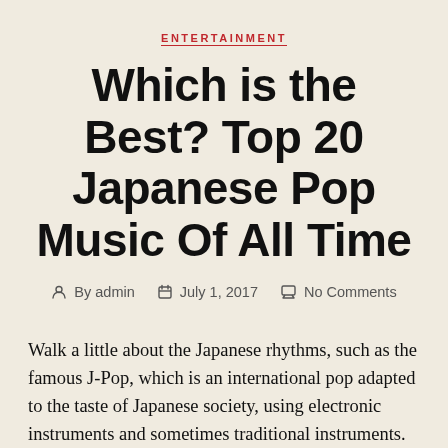ENTERTAINMENT
Which is the Best? Top 20 Japanese Pop Music Of All Time
By admin   July 1, 2017   No Comments
Walk a little about the Japanese rhythms, such as the famous J-Pop, which is an international pop adapted to the taste of Japanese society, using electronic instruments and sometimes traditional instruments. Japanese pop or J-pop is a musical genre Japanese. In